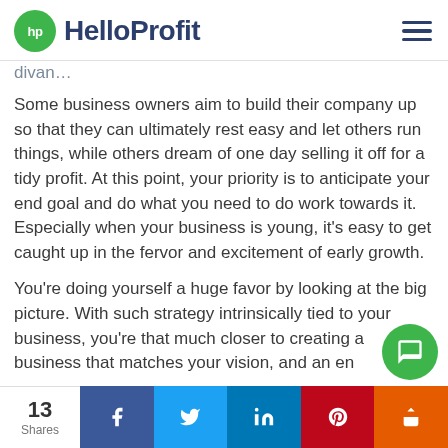HelloProfit
divan…
Some business owners aim to build their company up so that they can ultimately rest easy and let others run things, while others dream of one day selling it off for a tidy profit. At this point, your priority is to anticipate your end goal and do what you need to do work towards it. Especially when your business is young, it's easy to get caught up in the fervor and excitement of early growth.
You're doing yourself a huge favor by looking at the big picture. With such strategy intrinsically tied to your business, you're that much closer to creating a business that matches your vision, and an en…
13 Shares